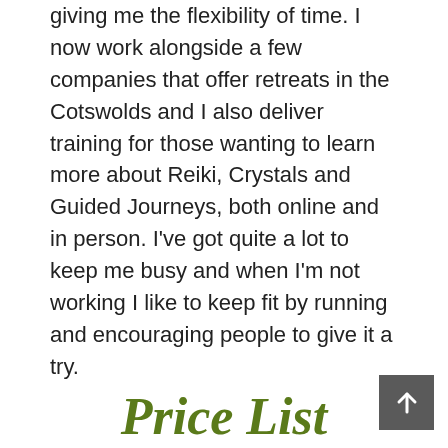giving me the flexibility of time. I now work alongside a few companies that offer retreats in the Cotswolds and I also deliver training for those wanting to learn more about Reiki, Crystals and Guided Journeys, both online and in person. I've got quite a lot to keep me busy and when I'm not working I like to keep fit by running and encouraging people to give it a try.
Price List